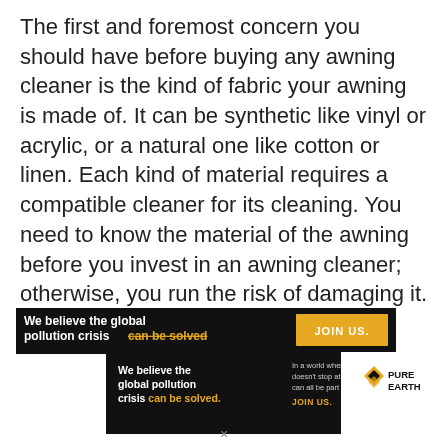The first and foremost concern you should have before buying any awning cleaner is the kind of fabric your awning is made of. It can be synthetic like vinyl or acrylic, or a natural one like cotton or linen. Each kind of material requires a compatible cleaner for its cleaning. You need to know the material of the awning before you invest in an awning cleaner; otherwise, you run the risk of damaging it.
[Figure (infographic): Two overlapping advertisement banners for Pure Earth organization. Top banner (black background): 'We believe the global pollution crisis can be solved' with a yellow 'JOIN US.' button. Bottom banner (black background): 'We believe the global pollution crisis can be solved.' with body text 'In a world where pollution doesn't stop at borders, we can all be part of the solution. JOIN US.' and Pure Earth logo on white background.]
×